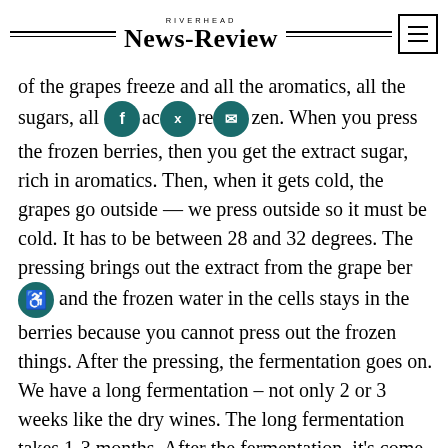RIVERHEAD NEWS-REVIEW
of the grapes freeze and all the aromatics, all the sugars, all [social icons] ac re zen. When you press the frozen berries, then you get the extract sugar, rich in aromatics. Then, when it gets cold, the grapes go outside — we press outside so it must be cold. It has to be between 28 and 32 degrees. The pressing brings out the extract from the grape berries and the frozen water in the cells stays in the berries because you cannot press out the frozen things. After the pressing, the fermentation goes on. We have a long fermentation – not only 2 or 3 weeks like the dry wines. The long fermentation takes 1-3 months. After the fermentation, it's come to maturing time which is much longer than dry wine. The maturing time is 2 or 3 years in